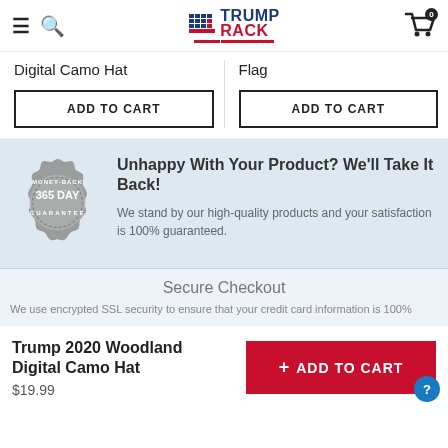Trump Rack — navigation header with logo, menu, search, cart
Digital Camo Hat
Flag
ADD TO CART
ADD TO CART
[Figure (illustration): 365 Day Money-Back Guarantee badge/seal in grey]
Unhappy With Your Product? We'll Take It Back!
We stand by our high-quality products and your satisfaction is 100% guaranteed.
Secure Checkout
We use encrypted SSL security to ensure that your credit card information is 100%
Trump 2020 Woodland Digital Camo Hat
$19.99
+ ADD TO CART